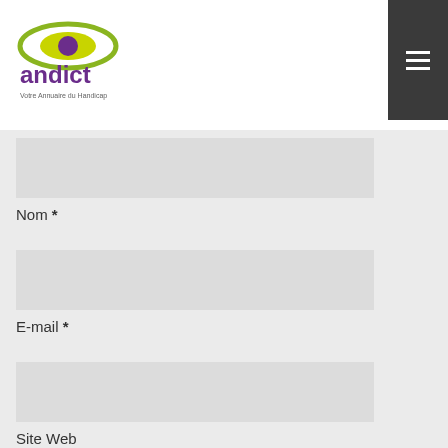[Figure (logo): Andict logo with stylized eye graphic in green and purple, with text 'andict' in purple below and tagline text]
Nom *
E-mail *
Site Web
Votre commentaire ici...